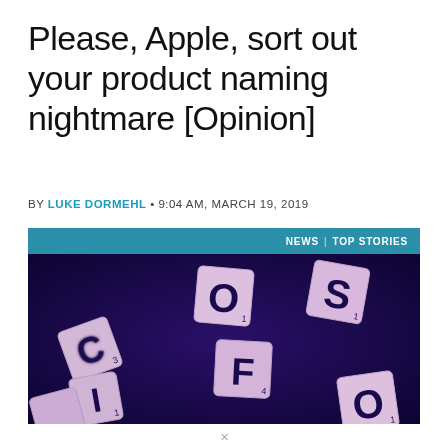Please, Apple, sort out your product naming nightmare [Opinion]
BY LUKE DORMEHL • 9:04 AM, MARCH 19, 2019
[Figure (photo): Scrabble letter tiles scattered on a dark blue/purple background, showing letters C, I, O, F, S, O under blue/UV lighting, tiles appear pinkish-purple]